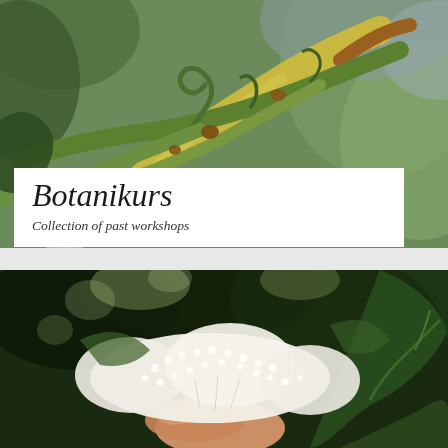[Figure (photo): Close-up macro photograph of green plant stems and tendrils with brown dried parts, showing intricate botanical structure against blurred green background]
Botanikurs
Collection of past workshops
[Figure (photo): Photograph of a hand holding white elderflower blossoms (small clustered white flowers) against a dark green leafy background with sunlight filtering through]